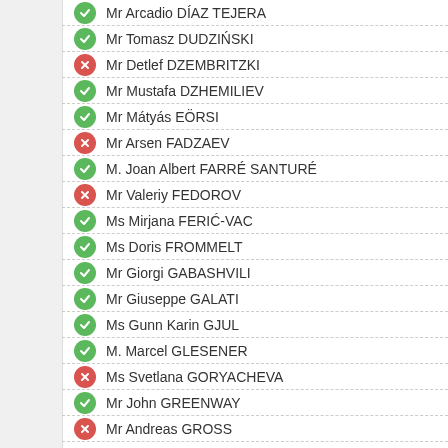Mr Arcadio DÍAZ TEJERA
Mr Tomasz DUDZIŃSKI
Mr Detlef DZEMBRITZKI
Mr Mustafa DZHEMILIEV
Mr Mátyás EÖRSI
Mr Arsen FADZAEV
M. Joan Albert FARRÉ SANTURÉ
Mr Valeriy FEDOROV
Ms Mirjana FERIĆ-VAC
Ms Doris FROMMELT
Mr Giorgi GABASHVILI
Mr Giuseppe GALATI
Ms Gunn Karin GJUL
M. Marcel GLESENER
Ms Svetlana GORYACHEVA
Mr John GREENWAY
Mr Andreas GROSS